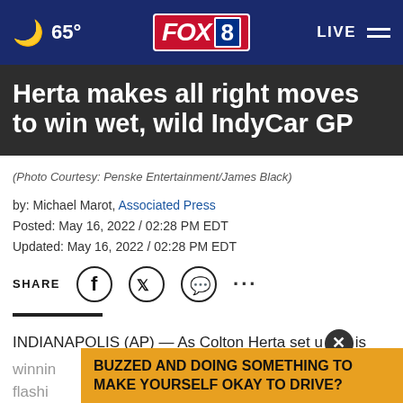65° FOX 8 LIVE
Herta makes all right moves to win wet, wild IndyCar GP
(Photo Courtesy: Penske Entertainment/James Black)
by: Michael Marot, Associated Press
Posted: May 16, 2022 / 02:28 PM EDT
Updated: May 16, 2022 / 02:28 PM EDT
SHARE
INDIANAPOLIS (AP) — As Colton Herta set u  is
winnin
flashi
BUZZED AND DOING SOMETHING TO MAKE YOURSELF OKAY TO DRIVE?